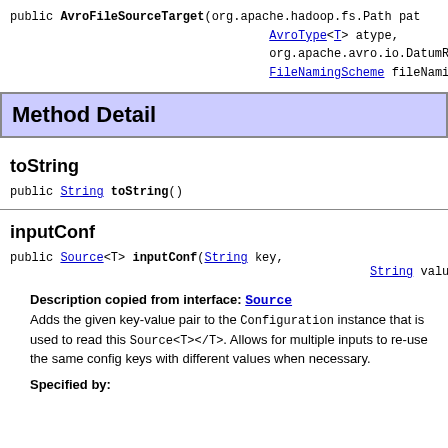public AvroFileSourceTarget(org.apache.hadoop.fs.Path pat AvroType<T> atype, org.apache.avro.io.DatumReade FileNamingScheme fileNamingSc
Method Detail
toString
public String toString()
inputConf
public Source<T> inputConf(String key, String value)
Description copied from interface: Source Adds the given key-value pair to the Configuration instance that is used to read this Source<T></T>. Allows for multiple inputs to re-use the same config keys with different values when necessary.
Specified by: